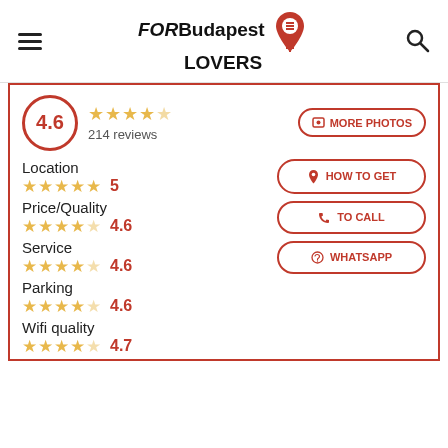FOR Budapest LOVERS
4.6 — 214 reviews
MORE PHOTOS
Location — 5 stars — 5
Price/Quality — 4.6 stars — 4.6
Service — 4.6 stars — 4.6
Parking — 4.6 stars — 4.6
Wifi quality — 4.7 stars — 4.7
HOW TO GET
TO CALL
WHATSAPP